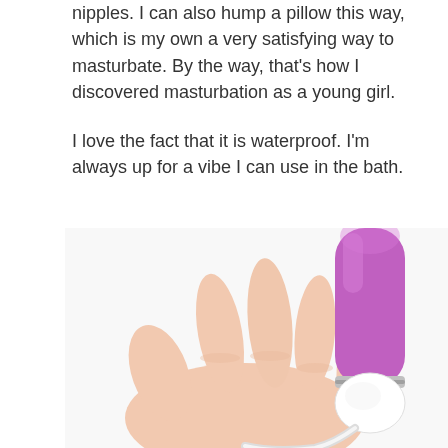nipples. I can also hump a pillow this way, which is my own a very satisfying way to masturbate. By the way, that's how I discovered masturbation as a young girl.
I love the fact that it is waterproof. I'm always up for a vibe I can use in the bath.
[Figure (photo): A hand holding a purple vibrator with a white rounded tip attachment and a white cord, against a white background.]